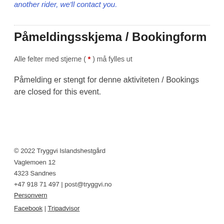another rider, we'll contact you.
Påmeldingsskjema / Bookingform
Alle felter med stjerne ( * ) må fylles ut
Påmelding er stengt for denne aktiviteten / Bookings are closed for this event.
© 2022 Tryggvi Islandshestgård
Vaglemoen 12
4323 Sandnes
+47 918 71 497 | post@tryggvi.no
Personvern
Facebook | Tripadvisor